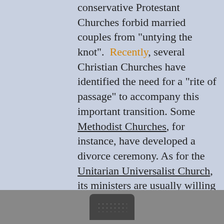conservative Protestant Churches forbid married couples from "untying the knot". Recently, several Christian Churches have identified the need for a "rite of passage" to accompany this important transition. Some Methodist Churches, for instance, have developed a divorce ceremony. As for the Unitarian Universalist Church, its ministers are usually willing to create a fitting ritual. Last but not least, secular celebrants have also started organising divorce ceremonies these last years, mostly in English-speaking countries, like the United States and Australia.